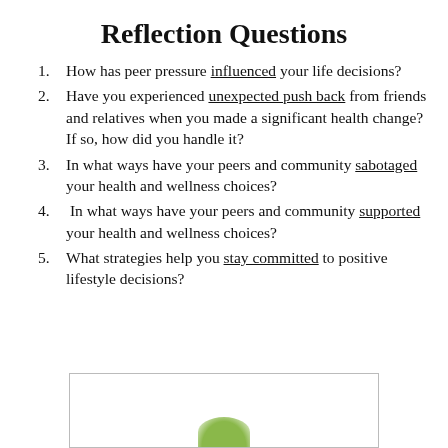Reflection Questions
How has peer pressure influenced your life decisions?
Have you experienced unexpected push back from friends and relatives when you made a significant health change? If so, how did you handle it?
In what ways have your peers and community sabotaged your health and wellness choices?
In what ways have your peers and community supported your health and wellness choices?
What strategies help you stay committed to positive lifestyle decisions?
[Figure (illustration): A partially visible decorative image showing a green leaf or plant at the bottom of a bordered box.]